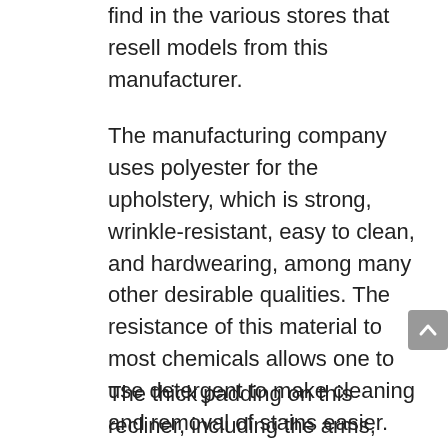find in the various stores that resell models from this manufacturer.
The manufacturing company uses polyester for the upholstery, which is strong, wrinkle-resistant, easy to clean, and hardwearing, among many other desirable qualities. The resistance of this material to most chemicals allows one to use detergent to make cleaning and removal of stains easier.
The thick padding on this recliner, including the arms, makes this one of the